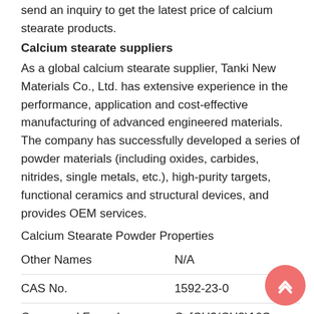send an inquiry to get the latest price of calcium stearate products.
Calcium stearate suppliers
As a global calcium stearate supplier, Tanki New Materials Co., Ltd. has extensive experience in the performance, application and cost-effective manufacturing of advanced engineered materials. The company has successfully developed a series of powder materials (including oxides, carbides, nitrides, single metals, etc.), high-purity targets, functional ceramics and structural devices, and provides OEM services.
Calcium Stearate Powder Properties
| Other Names | N/A |
| CAS No. | 1592-23-0 |
| Compound Formula | Ca[CH3(CH2)16C |
| Molecular Weight | N/A |